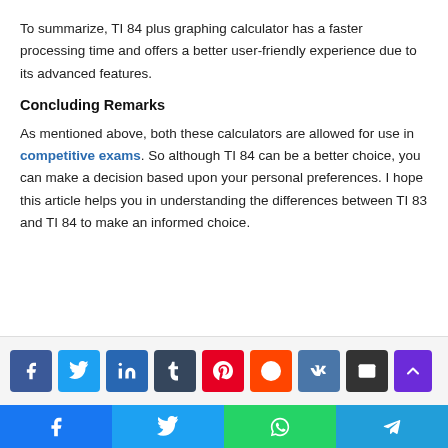To summarize, TI 84 plus graphing calculator has a faster processing time and offers a better user-friendly experience due to its advanced features.
Concluding Remarks
As mentioned above, both these calculators are allowed for use in competitive exams. So although TI 84 can be a better choice, you can make a decision based upon your personal preferences. I hope this article helps you in understanding the differences between TI 83 and TI 84 to make an informed choice.
[Figure (other): Social media sharing buttons: Facebook, Twitter, LinkedIn, Tumblr, Pinterest, Reddit, VK, Email, scroll-up, and a bottom bar with Facebook, Twitter, WhatsApp, Telegram icons]